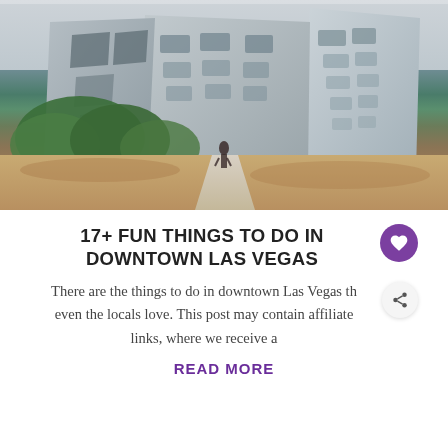[Figure (photo): Photograph of a modern architectural building with tilted geometric forms clad in metal, surrounded by desert landscaping with green trees and a winding pathway. A person stands on the path in the foreground.]
17+ FUN THINGS TO DO IN DOWNTOWN LAS VEGAS
There are the things to do in downtown Las Vegas th even the locals love. This post may contain affiliate links, where we receive a
READ MORE